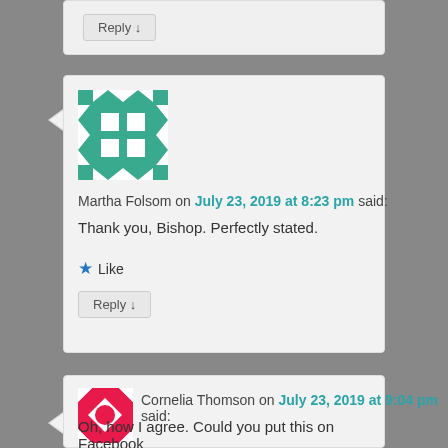Reply ↓
[Figure (illustration): Avatar image for Martha Folsom - green quilted/geometric pattern icon]
Martha Folsom on July 23, 2019 at 8:23 pm said:
Thank you, Bishop. Perfectly stated.
Like
Reply ↓
[Figure (illustration): Avatar image for Cornelia Thomson - pink/red geometric pattern icon]
Cornelia Thomson on July 23, 2019 at 9:04 pm said:
Oh, how I agree. Could you put this on Facebook